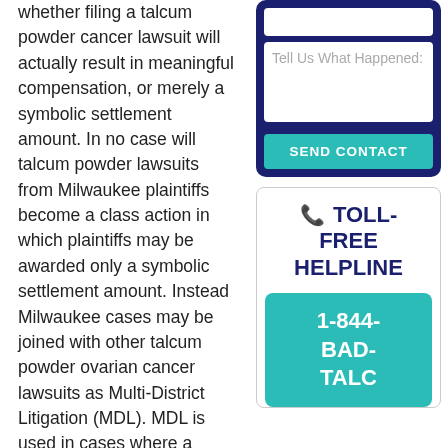whether filing a talcum powder cancer lawsuit will actually result in meaningful compensation, or merely a symbolic settlement amount. In no case will talcum powder lawsuits from Milwaukee plaintiffs become a class action in which plaintiffs may be awarded only a symbolic settlement amount. Instead Milwaukee cases may be joined with other talcum powder ovarian cancer lawsuits as Multi-District Litigation (MDL). MDL is used in cases where a dangerous drug or product has caused significant
[Figure (other): Contact form box with dark navy background, white textarea with placeholder 'Tell Us What Happened:', and a teal 'SEND CONTACT' button]
[Figure (other): Toll-Free Helpline box with phone icon and bold navy text 'TOLL-FREE HELPLINE', and a teal box with white bold text '1-844-BAD-TALC']